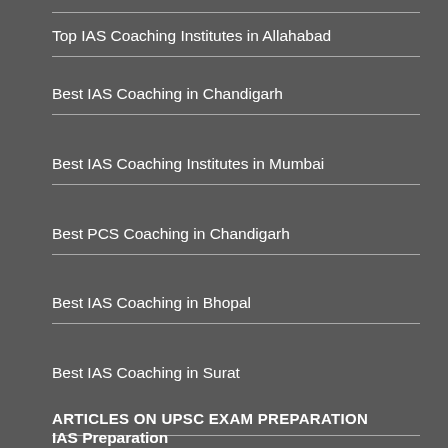Top IAS Coaching Institutes in Allahabad
Best IAS Coaching in Chandigarh
Best IAS Coaching Institutes in Mumbai
Best PCS Coaching in Chandigarh
Best IAS Coaching in Bhopal
Best IAS Coaching in Surat
ARTICLES ON UPSC EXAM PREPARATION
IAS Preparation